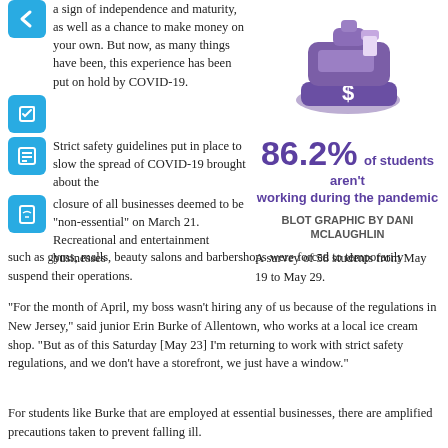a sign of independence and maturity, as well as a chance to make money on your own. But now, as many things have been, this experience has been put on hold by COVID-19.
[Figure (illustration): Purple illustration of a cash register with a dollar sign]
86.2% of students aren't working during the pandemic
BLOT GRAPHIC BY DANI McLAUGHLIN
A survey of 58 students from May 19 to May 29.
Strict safety guidelines put in place to slow the spread of COVID-19 brought about the closure of all businesses deemed to be “non-essential” on March 21. Recreational and entertainment businesses such as gyms, malls, beauty salons and barbershops were forced to temporarily suspend their operations.
“For the month of April, my boss wasn’t hiring any of us because of the regulations in New Jersey,” said junior Erin Burke of Allentown, who works at a local ice cream shop. “But as of this Saturday [May 23] I’m returning to work with strict safety regulations, and we don’t have a storefront, we just have a window.”
For students like Burke that are employed at essential businesses, there are amplified precautions taken to prevent falling ill.